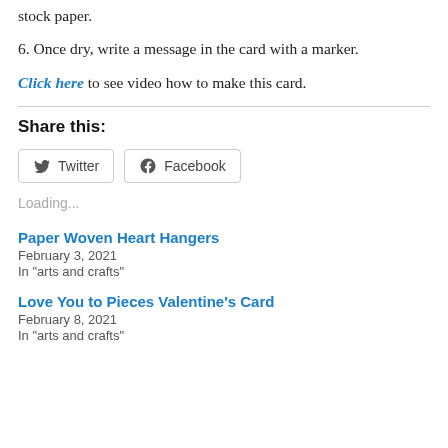stock paper.
6. Once dry, write a message in the card with a marker.
Click here to see video how to make this card.
Share this:
Twitter  Facebook
Loading...
Paper Woven Heart Hangers
February 3, 2021
In "arts and crafts"
Love You to Pieces Valentine's Card
February 8, 2021
In "arts and crafts"